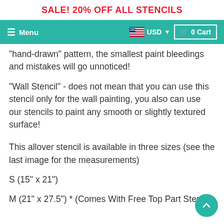SALE! 20% OFF ALL STENCILS
Menu   USD   0 Cart
"hand-drawn" pattern, the smallest paint bleedings and mistakes will go unnoticed!
"Wall Stencil" - does not mean that you can use this stencil only for the wall painting, you also can use our stencils to paint any smooth or slightly textured surface!
This allover stencil is available in three sizes (see the last image for the measurements)
S (15" x 21")
M (21" x 27.5") * (Comes With Free Top Part Stencil)